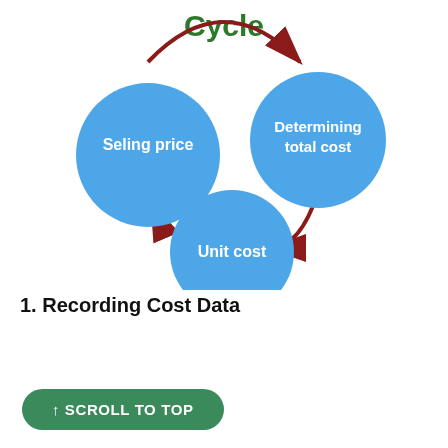[Figure (flowchart): A cyclical diagram showing three blue circles labeled 'Selling price', 'Determining total cost', and 'Unit cost', connected by dark red curved arrows forming a cycle. The title at top reads 'Cycle' in green.]
1. Recording Cost Data
↑ SCROLL TO TOP